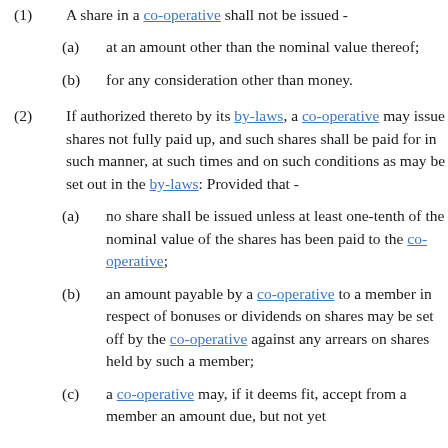(1) A share in a co-operative shall not be issued -
(a) at an amount other than the nominal value thereof;
(b) for any consideration other than money.
(2) If authorized thereto by its by-laws, a co-operative may issue shares not fully paid up, and such shares shall be paid for in such manner, at such times and on such conditions as may be set out in the by-laws: Provided that -
(a) no share shall be issued unless at least one-tenth of the nominal value of the shares has been paid to the co-operative;
(b) an amount payable by a co-operative to a member in respect of bonuses or dividends on shares may be set off by the co-operative against any arrears on shares held by such a member;
(c) a co-operative may, if it deems fit, accept from a member an amount due, but not yet